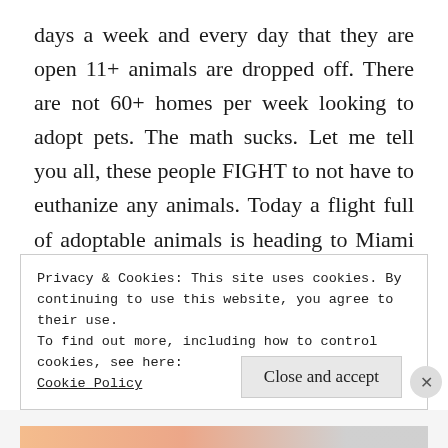days a week and every day that they are open 11+ animals are dropped off. There are not 60+ homes per week looking to adopt pets. The math sucks. Let me tell you all, these people FIGHT to not have to euthanize any animals. Today a flight full of adoptable animals is heading to Miami and then the animals will be heading on to various partner (no kill) shelters throughout the states. Unfortunately, just a few days after that, the
Privacy & Cookies: This site uses cookies. By continuing to use this website, you agree to their use.
To find out more, including how to control cookies, see here: Cookie Policy
Close and accept